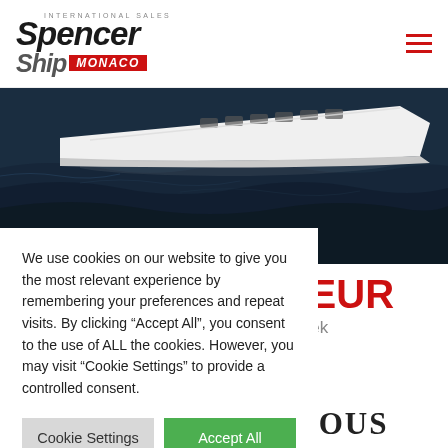[Figure (logo): Spencer Ship Monaco International Sales logo with italic bold text and red Monaco badge]
[Figure (photo): White luxury motor yacht sailing on dark blue ocean water, aerial/side view]
00 EUR Per Week
We use cookies on our website to give you the most relevant experience by remembering your preferences and repeat visits. By clicking “Accept All”, you consent to the use of ALL the cookies. However, you may visit “Cookie Settings” to provide a controlled consent.
Cookie Settings
Accept All
FAST AND FURIOUS